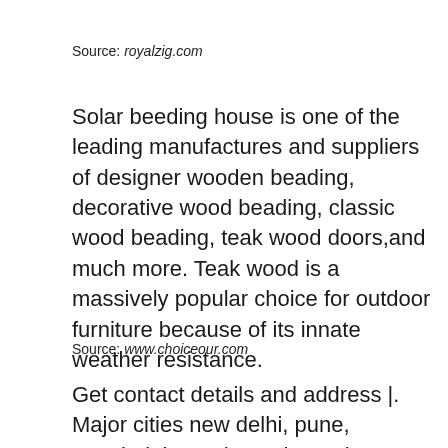Source: royalzig.com
Solar beeding house is one of the leading manufactures and suppliers of designer wooden beading, decorative wood beading, classic wood beading, teak wood doors,and much more. Teak wood is a massively popular choice for outdoor furniture because of its innate weather resistance.
Source: www.choiceour.com
Get contact details and address |. Major cities new delhi, pune, mumbai, bangalore, chennai, ahmedabad, gurgaon, calicut, thiruvancindra…